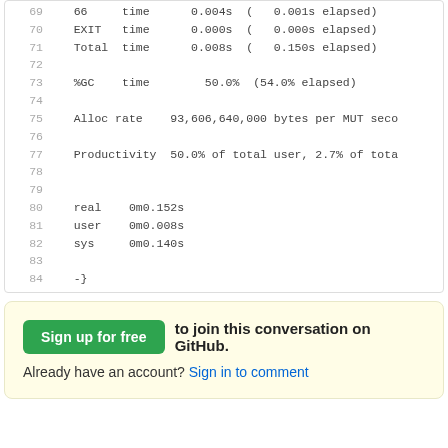69  66  time  0.004s (  0.001s elapsed)
70  EXIT  time  0.000s (  0.000s elapsed)
71  Total  time  0.008s (  0.150s elapsed)
72
73  %GC  time  50.0%  (54.0% elapsed)
74
75  Alloc rate  93,606,640,000 bytes per MUT seco
76
77  Productivity  50.0% of total user, 2.7% of tota
78
79
80  real  0m0.152s
81  user  0m0.008s
82  sys  0m0.140s
83
84  -}
Sign up for free to join this conversation on GitHub.
Already have an account? Sign in to comment